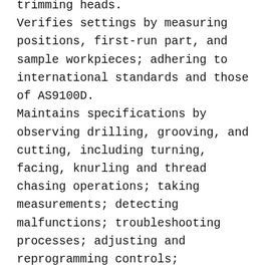trimming heads. Verifies settings by measuring positions, first-run part, and sample workpieces; adhering to international standards and those of AS9100D. Maintains specifications by observing drilling, grooving, and cutting, including turning, facing, knurling and thread chasing operations; taking measurements; detecting malfunctions; troubleshooting processes; adjusting and reprogramming controls; sharpening and replacing worn tools; adhering to quality assurance procedures and processes. Maintains safe operations by adhering to safety procedures and regulations. Maintains equipment by completing preventive maintenance requirements; following manufacturer's instructions;